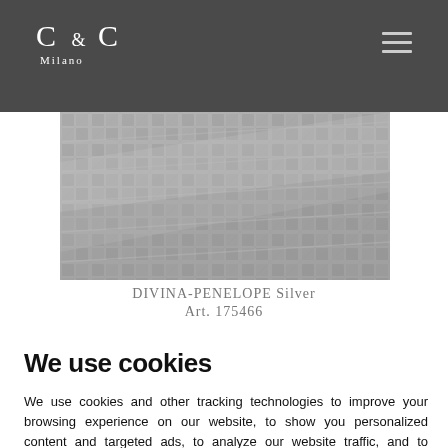C & C Milano
[Figure (photo): Close-up photograph of silver/grey textured fabric with geometric woven pattern (DIVINA-PENELOPE Silver)]
DIVINA-PENELOPE Silver
Art. 175466
We use cookies
We use cookies and other tracking technologies to improve your browsing experience on our website, to show you personalized content and targeted ads, to analyze our website traffic, and to understand where our visitors are coming